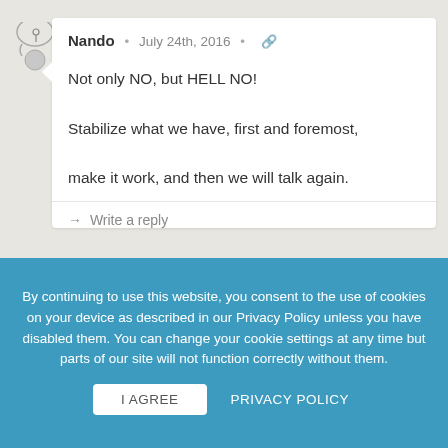Nando · July 24th, 2016 · 🔗
Not only NO, but HELL NO! Stabilize what we have, first and foremost, make it work, and then we will talk again.
→ Write a reply
Paulo Lisboa · July 25th, 2016 · 🔗
By continuing to use this website, you consent to the use of cookies on your device as described in our Privacy Policy unless you have disabled them. You can change your cookie settings at any time but parts of our site will not function correctly without them.